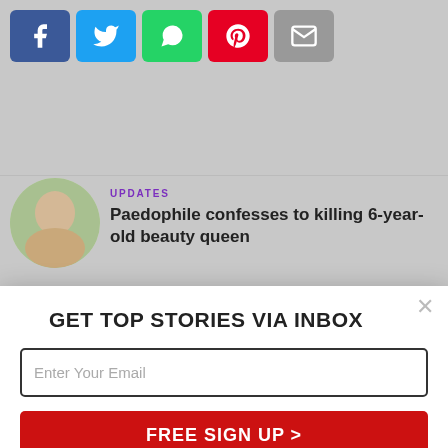[Figure (screenshot): Social share buttons: Facebook, Twitter, WhatsApp, Pinterest, Email]
UPDATES
Paedophile confesses to killing 6-year-old beauty queen
GET TOP STORIES VIA INBOX
Enter Your Email
FREE SIGN UP >
No, thank you.
UPDATES
The Murder Of Poltergeist Actress Dominique Dunne By Her Ex